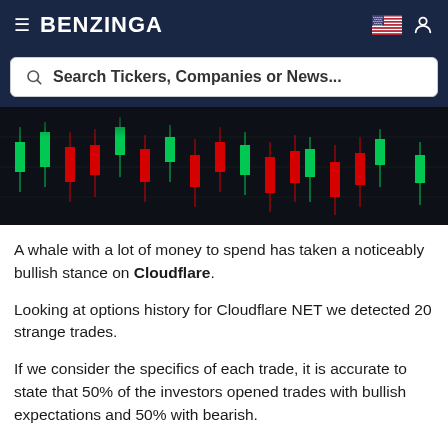BENZINGA
Search Tickers, Companies or News...
[Figure (photo): Dark candlestick trading chart with green and red candles on a dark background]
A whale with a lot of money to spend has taken a noticeably bullish stance on Cloudflare.
Looking at options history for Cloudflare NET we detected 20 strange trades.
If we consider the specifics of each trade, it is accurate to state that 50% of the investors opened trades with bullish expectations and 50% with bearish.